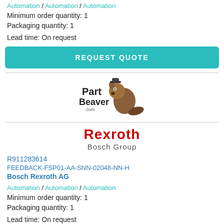Automation / Automation / Automation
Minimum order quantity: 1
Packaging quantity: 1
Lead time: On request
REQUEST QUOTE
[Figure (logo): PartBeaver.com logo with cartoon beaver]
[Figure (logo): Rexroth Bosch Group logo]
R911283614
FEEDBACK-FSP01-AA-SNN-02048-NN-H
Bosch Rexroth AG
Automation / Automation / Automation
Minimum order quantity: 1
Packaging quantity: 1
Lead time: On request
REQUEST QUOTE